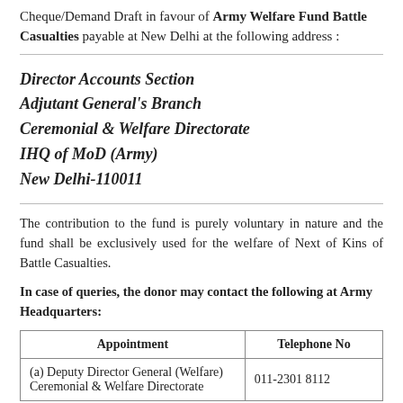Cheque/Demand Draft in favour of Army Welfare Fund Battle Casualties payable at New Delhi at the following address :
Director Accounts Section
Adjutant General's Branch
Ceremonial & Welfare Directorate
IHQ of MoD (Army)
New Delhi-110011
The contribution to the fund is purely voluntary in nature and the fund shall be exclusively used for the welfare of Next of Kins of Battle Casualties.
In case of queries, the donor may contact the following at Army Headquarters:
| Appointment | Telephone No |
| --- | --- |
| (a) Deputy Director General (Welfare)
Ceremonial & Welfare Directorate | 011-2301 8112 |